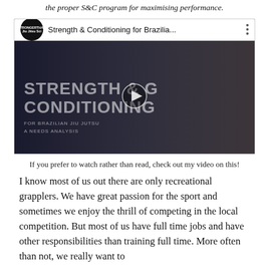the proper S&C program for maximising performance.
[Figure (screenshot): YouTube video thumbnail for 'Strength & Conditioning for Brazilia...' by Strongerthan. Shows a BJJ grappling scene with large text overlay reading 'STRENGTH & CONDITIONING FOR BRAZILIAN JIU JUTSU A NEEDS ANALYSIS'. A play button is visible in the center.]
If you prefer to watch rather than read, check out my video on this!
I know most of us out there are only recreational grapplers. We have great passion for the sport and sometimes we enjoy the thrill of competing in the local competition. But most of us have full time jobs and have other responsibilities than training full time. More often than not, we really want to